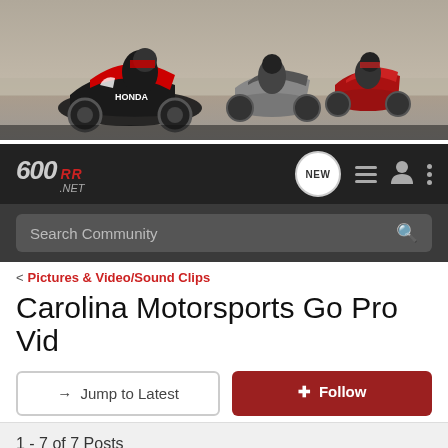[Figure (photo): Hero banner showing three Honda CBR600RR motorcycles racing on a track, with riders in full racing gear leaning into corners.]
[Figure (logo): CBR600RR.net forum logo in stylized text with navigation icons: NEW chat bubble, list icon, user icon, and dots menu.]
Search Community
< Pictures & Video/Sound Clips
Carolina Motorsports Go Pro Vid
→ Jump to Latest
+ Follow
1 - 7 of 7 Posts
bacolmm · Registered
Joined Jan 15, 2006 · 130 Posts